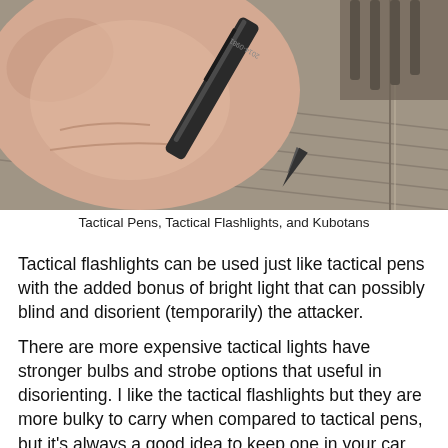[Figure (photo): Close-up photo of a hand holding a tactical pen (dark metallic, pointed tip) resting against khaki/tan fabric or clothing. The pen has markings '2014-0981' visible. Shot from above.]
Tactical Pens, Tactical Flashlights, and Kubotans
Tactical flashlights can be used just like tactical pens with the added bonus of bright light that can possibly blind and disorient (temporarily) the attacker.
There are more expensive tactical lights have stronger bulbs and strobe options that useful in disorienting. I like the tactical flashlights but they are more bulky to carry when compared to tactical pens, but it's always a good idea to keep one in your car, backpack, tote bag,